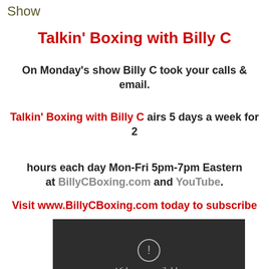Show
Talkin' Boxing with Billy C
On Monday's show Billy C took your calls & email.
Talkin' Boxing with Billy C airs 5 days a week for 2 hours each day Mon-Fri 5pm-7pm Eastern at BillyCBoxing.com and YouTube.
Visit www.BillyCBoxing.com today to subscribe
[Figure (screenshot): YouTube embedded video player showing 'Video unavailable - This video is unavailable' error message on dark background]